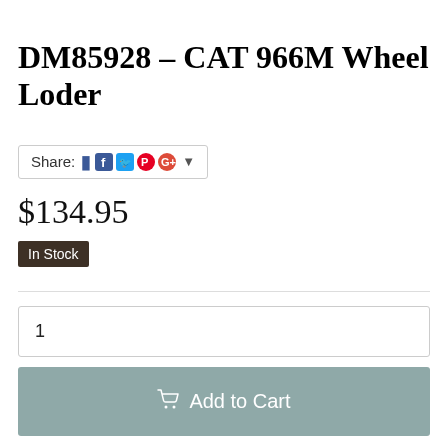DM85928 - CAT 966M Wheel Loder
Share: [Facebook] [Twitter] [Pinterest] [Google+] ▾
$134.95
In Stock
1
🛒 Add to Cart
Calculate Shipping
Qty